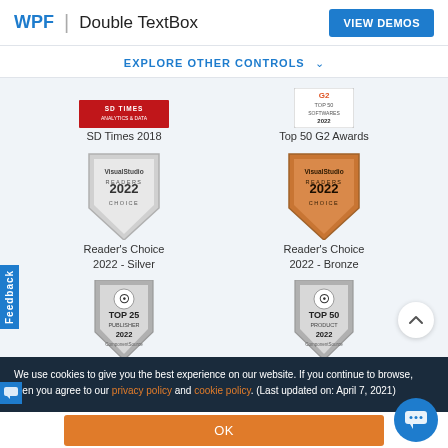WPF | Double TextBox
VIEW DEMOS
EXPLORE OTHER CONTROLS
[Figure (other): SD Times 2018 award badge - red bar]
SD Times 2018
[Figure (other): Top 50 G2 Awards badge]
Top 50 G2 Awards
[Figure (other): Visual Studio Readers Choice 2022 Silver shield badge]
Reader's Choice 2022 - Silver
[Figure (other): Visual Studio Readers Choice 2022 Bronze shield badge]
Reader's Choice 2022 - Bronze
[Figure (other): ComponentSource Top 25 Publisher 2022 badge]
Top 25 Publisher 2022
[Figure (other): ComponentSource Top 50 Product 2022 badge]
Top 50 Product 2022
We use cookies to give you the best experience on our website. If you continue to browse, then you agree to our privacy policy and cookie policy. (Last updated on: April 7, 2021)
OK